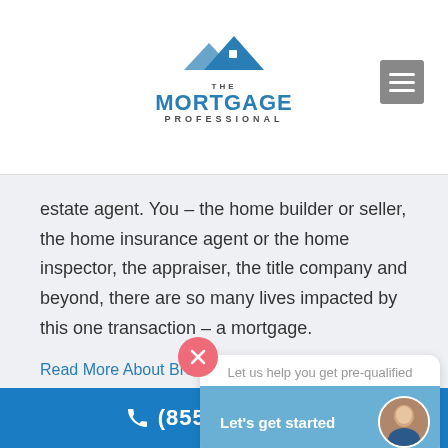[Figure (logo): The Mortgage Professional logo with house/mountain icon in blue]
estate agent. You – the home builder or seller, the home insurance agent or the home inspector, the appraiser, the title company and beyond, there are so many lives impacted by this one transaction – a mortgage.
Read More About Brent Kiffer
[Figure (screenshot): Chat widget popup with close button (X), text 'Let us help you get pre-qualified', blue button 'Let's get started' with avatar photo]
(855) 346-1003